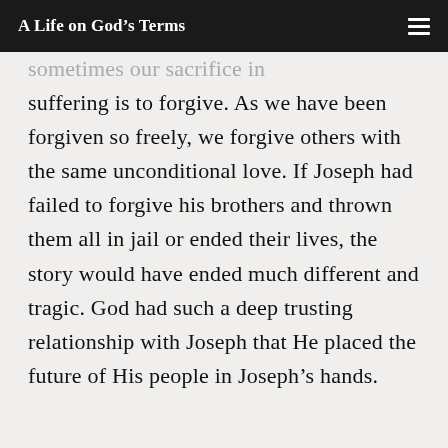A Life on God's Terms
sometimes our sacrifice in suffering is to forgive. As we have been forgiven so freely, we forgive others with the same unconditional love. If Joseph had failed to forgive his brothers and thrown them all in jail or ended their lives, the story would have ended much different and tragic. God had such a deep trusting relationship with Joseph that He placed the future of His people in Joseph's hands.